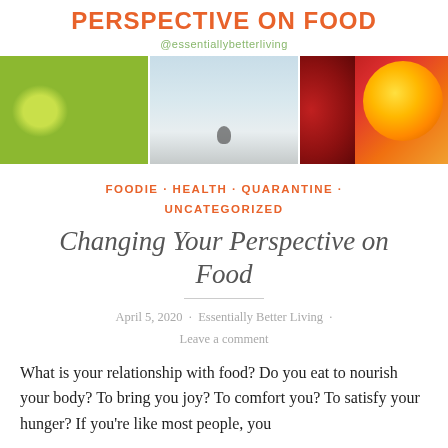PERSPECTIVE ON FOOD
@essentiallybetterliving
[Figure (photo): Three food/lifestyle photos side by side: green limes/lemons, a person's foot on sand/snow, and a sliced orange with pomegranate]
FOODIE · HEALTH · QUARANTINE · UNCATEGORIZED
Changing Your Perspective on Food
April 5, 2020 · Essentially Better Living · Leave a comment
What is your relationship with food? Do you eat to nourish your body? To bring you joy? To comfort you? To satisfy your hunger? If you're like most people, you